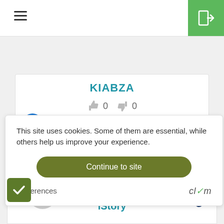[Figure (screenshot): Mobile app UI screenshot showing navigation bar with hamburger menu and green login button, a card for KIABZA app with thumbs up/down votes (0 each) and average score 3.71, a cookie consent banner with 'Continue to site' button and Clym branding, and partial iStory app card at bottom.]